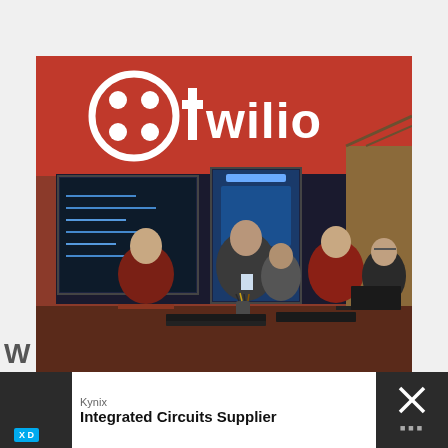[Figure (photo): Photo of a Twilio trade show booth with a red background featuring the Twilio logo (white circle icon and 'twilio' text). Multiple monitors display blue screens. Several people stand at a counter, including Twilio staff in red jackets and visitors with conference badges.]
W
[Figure (other): Advertisement banner: Kynix - Integrated Circuits Supplier with GET QUOTE button, and a close/X button on the right side.]